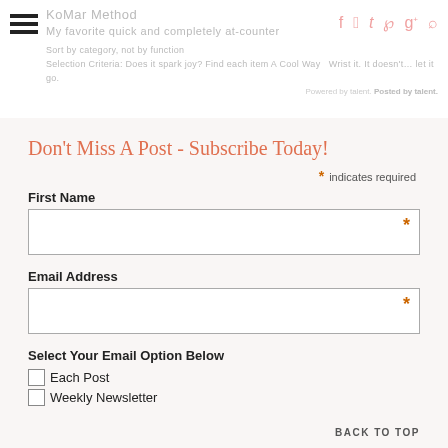KoMar Method | My favorite quick and completely at-counter | Sort by category, not by function | Selection Criteria: Does it spark joy? Find each item A Cool Way | social icons | Powered by talent
Don't Miss A Post - Subscribe Today!
* indicates required
First Name *
Email Address *
Select Your Email Option Below
Each Post
Weekly Newsletter
BACK TO TOP